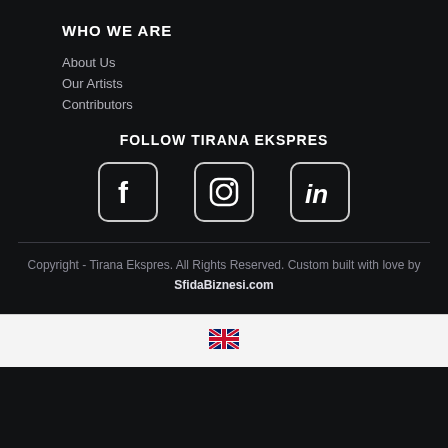WHO WE ARE
About Us
Our Artists
Contributors
FOLLOW TIRANA EKSPRES
[Figure (infographic): Three social media icons in rounded square boxes: Facebook (f), Instagram (camera/circle), LinkedIn (in)]
Copyright - Tirana Ekspres. All Rights Reserved. Custom built with love by SfidaBiznesi.com
[Figure (infographic): UK flag emoji/icon indicating English language selector]